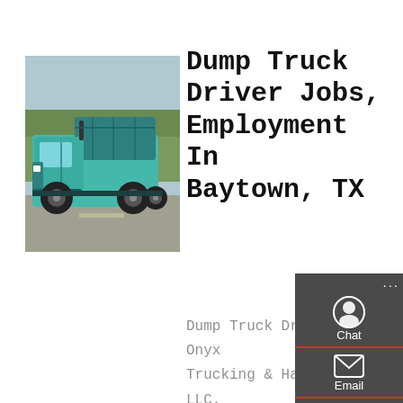[Figure (photo): A teal/turquoise dump truck on a road, with trees in the background.]
Dump Truck Driver Jobs, Employment In Baytown, TX
Dump Truck Driver. Onyx Trucking & Hauling LLC. South Houston, TX 7755... $800 - $1,200 a week. Easily apply. Drives a truck equipped with dump trailer to transport and dump loose materials such as sand, gravel, crush concrete, and
[Figure (infographic): Sidebar widget panel with Chat, Email, Contact, and Top buttons on a dark gray background.]